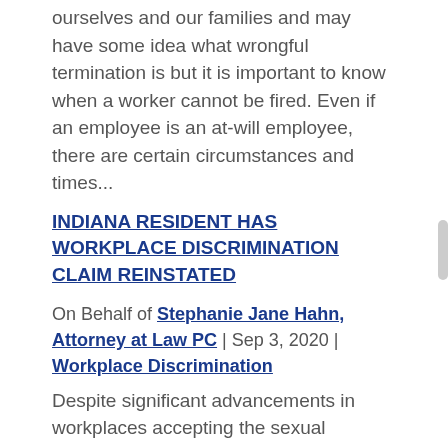ourselves and our families and may have some idea what wrongful termination is but it is important to know when a worker cannot be fired. Even if an employee is an at-will employee, there are certain circumstances and times...
INDIANA RESIDENT HAS WORKPLACE DISCRIMINATION CLAIM REINSTATED
On Behalf of Stephanie Jane Hahn, Attorney at Law PC | Sep 3, 2020 | Workplace Discrimination
Despite significant advancements in workplaces accepting the sexual orientation and gender identities of employees, there are still a troubling number of complaints in Indiana and across the nation about sexual harassment and workplace discrimination. Filing a claim...